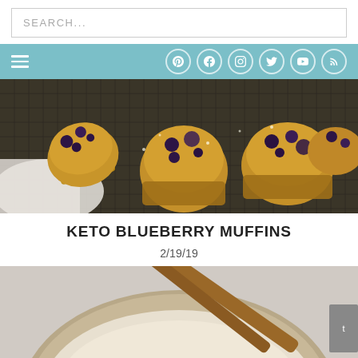SEARCH...
[Figure (screenshot): Website navigation bar with hamburger menu and social media icons on teal/blue background]
[Figure (photo): Overhead photo of keto blueberry muffins on a wire cooling rack]
KETO BLUEBERRY MUFFINS
2/19/19
[Figure (photo): Photo of a ceramic bowl with wooden chopsticks and creamy contents, recipe in progress]
[Figure (photo): Close-up of creamy pink food at the bottom of the page]